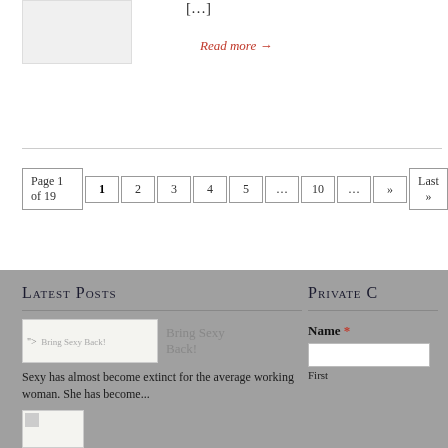[Figure (photo): Gray placeholder image box in top-left area]
[...]
Read more →
Page 1 of 19  1  2  3  4  5  ...  10  ...  »  Last »
Latest Posts
[Figure (photo): Bring Sexy Back! thumbnail image placeholder]
Bring Sexy Back!
Sexy has almost become extinct for the average working woman. She has become...
[Figure (photo): Second post thumbnail image placeholder]
Private C
Name *
First